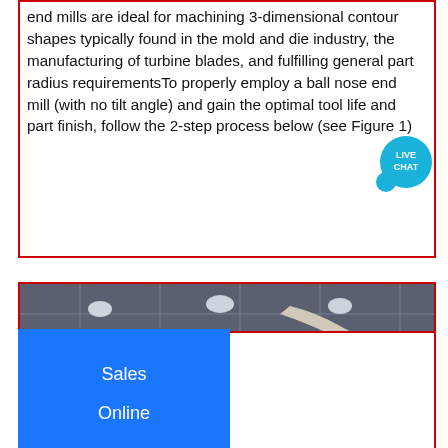end mills are ideal for machining 3-dimensional contour shapes typically found in the mold and die industry, the manufacturing of turbine blades, and fulfilling general part radius requirementsTo properly employ a ball nose end mill (with no tilt angle) and gain the optimal tool life and part finish, follow the 2-step process below (see Figure 1)
[Figure (illustration): Live Chat bubble icon overlaying top-right of text box]
Sales
Online
[Figure (photo): Interior of an industrial manufacturing facility showing large white ventilation ducts and machinery under a metal roof with overhead lighting]